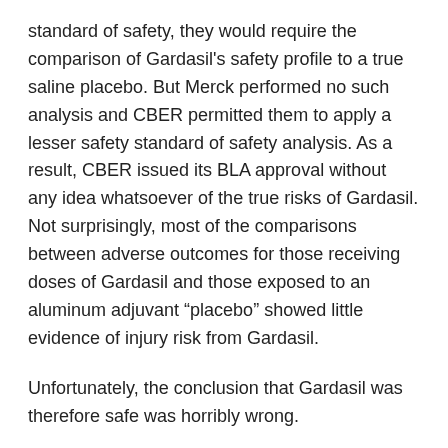standard of safety, they would require the comparison of Gardasil's safety profile to a true saline placebo. But Merck performed no such analysis and CBER permitted them to apply a lesser safety standard of safety analysis. As a result, CBER issued its BLA approval without any idea whatsoever of the true risks of Gardasil. Not surprisingly, most of the comparisons between adverse outcomes for those receiving doses of Gardasil and those exposed to an aluminum adjuvant “placebo” showed little evidence of injury risk from Gardasil.
Unfortunately, the conclusion that Gardasil was therefore safe was horribly wrong.
A different view of the Gardasil trial data
Based on the data provided in CBER’s review of the Gardasil